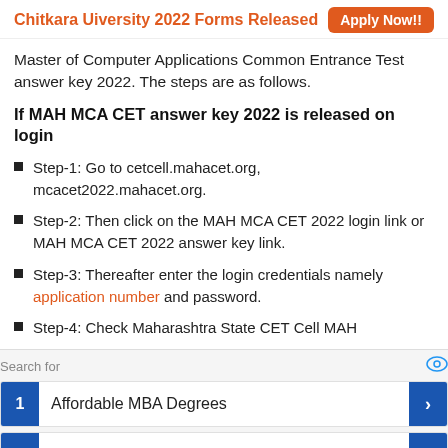Chitkara Uiversity 2022 Forms Released  Apply Now!!
Master of Computer Applications Common Entrance Test answer key 2022. The steps are as follows.
If MAH MCA CET answer key 2022 is released on login
Step-1: Go to cetcell.mahacet.org, mcacet2022.mahacet.org.
Step-2: Then click on the MAH MCA CET 2022 login link or MAH MCA CET 2022 answer key link.
Step-3: Thereafter enter the login credentials namely application number and password.
Step-4: Check Maharashtra State CET Cell MAH
[Figure (other): Advertisement block with search results: 1. Affordable MBA Degrees, 2. Online Application Form]